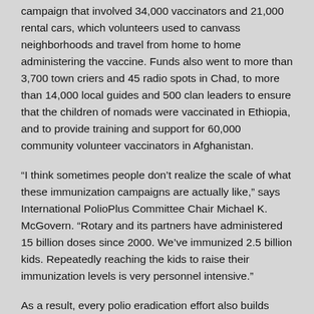campaign that involved 34,000 vaccinators and 21,000 rental cars, which volunteers used to canvass neighborhoods and travel from home to home administering the vaccine. Funds also went to more than 3,700 town criers and 45 radio spots in Chad, to more than 14,000 local guides and 500 clan leaders to ensure that the children of nomads were vaccinated in Ethiopia, and to provide training and support for 60,000 community volunteer vaccinators in Afghanistan.
“I think sometimes people don’t realize the scale of what these immunization campaigns are actually like,” says International PolioPlus Committee Chair Michael K. McGovern. “Rotary and its partners have administered 15 billion doses since 2000. We’ve immunized 2.5 billion kids. Repeatedly reaching the kids to raise their immunization levels is very personnel intensive.”
As a result, every polio eradication effort also builds